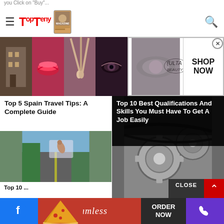TopTeny — navigation header with logo, hamburger menu, and search icon
[Figure (photo): Ulta Beauty advertisement banner with makeup photos and SHOP NOW button]
Top 5 Spain Travel Tips: A Complete Guide
Top 10 Best Qualifications And Skills You Must Have To Get A Job Easily
[Figure (photo): Person waving hand out of car window on a road trip]
[Figure (photo): Close-up of engine gears/mechanical parts in black and white]
Top 10 ...and
[Figure (photo): Seamless food delivery advertisement banner with pizza image and ORDER NOW button]
Facebook share button | Seamless Order Now ad | Phone button | CLOSE button